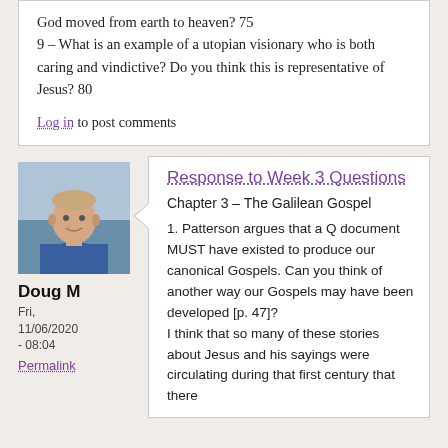God moved from earth to heaven? 75
9 – What is an example of a utopian visionary who is both caring and vindictive? Do you think this is representative of Jesus? 80
Log in to post comments
[Figure (photo): Profile photo of Doug M, a man in a blue shirt]
Doug M
Fri, 11/06/2020 - 08:04
Permalink
Response to Week 3 Questions
Chapter 3 – The Galilean Gospel
1. Patterson argues that a Q document MUST have existed to produce our canonical Gospels. Can you think of another way our Gospels may have been developed [p. 47]?
I think that so many of these stories about Jesus and his sayings were circulating during that first century that there